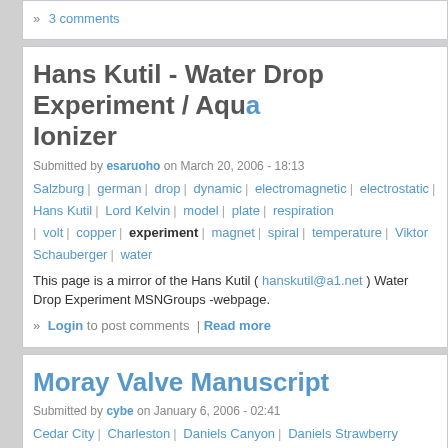» 3 comments
Hans Kutil - Water Drop Experiment / Aqua Ionizer
Submitted by esaruoho on March 20, 2006 - 18:13
Salzburg | german | drop | dynamic | electromagnetic | electrostatic | Hans Kutil | Lord Kelvin | model | plate | respiration | volt | copper | experiment | magnet | spiral | temperature | Viktor Schauberger | water
This page is a mirror of the Hans Kutil ( hanskutil@a1.net ) Water Drop Experiment MSNGroups -webpage.
» Login to post comments | Read more
Moray Valve Manuscript
Submitted by cybe on January 6, 2006 - 02:41
Cedar City | Charleston | Daniels Canyon | Daniels Strawberry | Duchesne | Haystack Mountain | Salt Lake City | Strawberry Lake